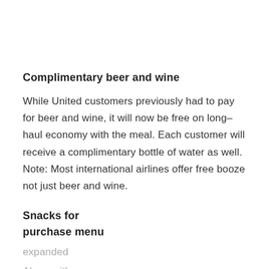Complimentary beer and wine
While United customers previously had to pay for beer and wine, it will now be free on long–haul economy with the meal. Each customer will receive a complimentary bottle of water as well. Note: Most international airlines offer free booze not just beer and wine.
Snacks for purchase menu
expanded
Along with